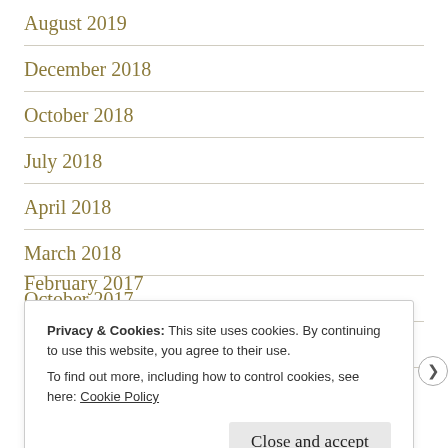August 2019
December 2018
October 2018
July 2018
April 2018
March 2018
October 2017
September 2017
February 2017 (partial, obscured)
Privacy & Cookies: This site uses cookies. By continuing to use this website, you agree to their use. To find out more, including how to control cookies, see here: Cookie Policy
Close and accept